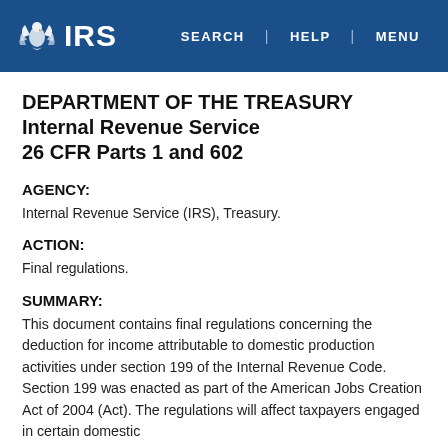IRS | SEARCH | HELP | MENU
DEPARTMENT OF THE TREASURY
Internal Revenue Service
26 CFR Parts 1 and 602
AGENCY:
Internal Revenue Service (IRS), Treasury.
ACTION:
Final regulations.
SUMMARY:
This document contains final regulations concerning the deduction for income attributable to domestic production activities under section 199 of the Internal Revenue Code. Section 199 was enacted as part of the American Jobs Creation Act of 2004 (Act). The regulations will affect taxpayers engaged in certain domestic